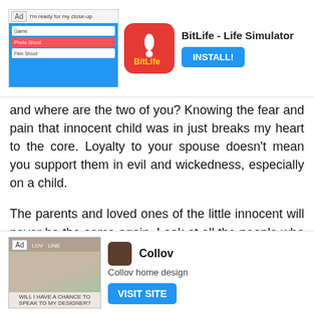[Figure (screenshot): Advertisement banner for BitLife - Life Simulator app with screenshot, icon, app name, and INSTALL! button]
and where are the two of you? Knowing the fear and pain that innocent child was in just breaks my heart to the core. Loyalty to your spouse doesn't mean you support them in evil and wickedness, especially on a child.
The parents and loved ones of the little innocent will never be the same again. Look at all the people who have to suffer because of one axt of wickedness.
Reply
▾ Replies
Anonymous 28 January 2022 at 13:19
[Figure (screenshot): Advertisement banner for Collov home design app with room image, icon, app name, description, and VISIT SITE button]